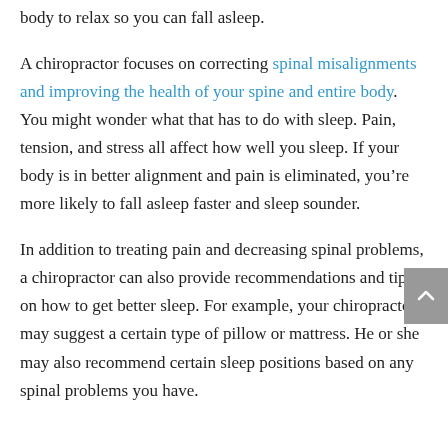body to relax so you can fall asleep.
A chiropractor focuses on correcting spinal misalignments and improving the health of your spine and entire body. You might wonder what that has to do with sleep. Pain, tension, and stress all affect how well you sleep. If your body is in better alignment and pain is eliminated, you’re more likely to fall asleep faster and sleep sounder.
In addition to treating pain and decreasing spinal problems, a chiropractor can also provide recommendations and tips on how to get better sleep. For example, your chiropractor may suggest a certain type of pillow or mattress. He or she may also recommend certain sleep positions based on any spinal problems you have.